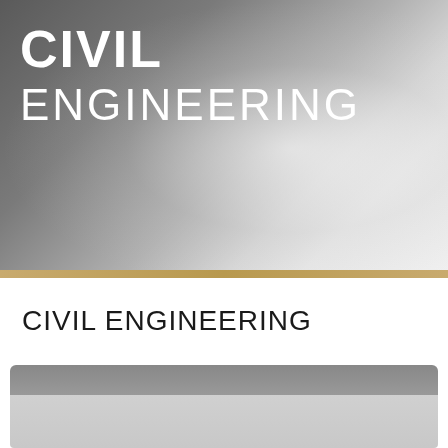[Figure (photo): Hero banner image with dark grey to light grey gradient background suggesting a civil engineering context (tunnel or road), with text overlay]
CIVIL ENGINEERING
CIVIL ENGINEERING
Seminars